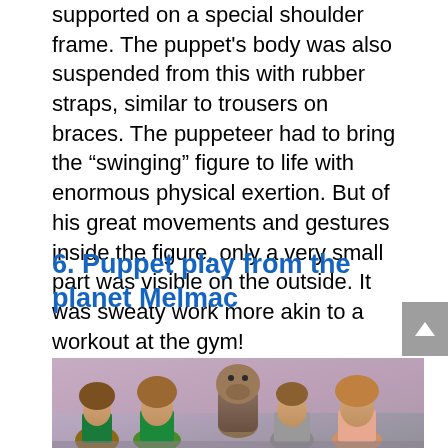supported on a special shoulder frame. The puppet's body was also suspended from this with rubber straps, similar to trousers on braces. The puppeteer had to bring the “swinging” figure to life with enormous physical exertion. But of his great movements and gestures inside the figure, only a very small part was visible on the outside. It was sweaty work more akin to a workout at the gym!
6. Puppet play from the planet Melmac
[Figure (photo): Group promotional photo of the ALF TV show cast with the ALF puppet character visible among the human cast members against a pink/grey background]